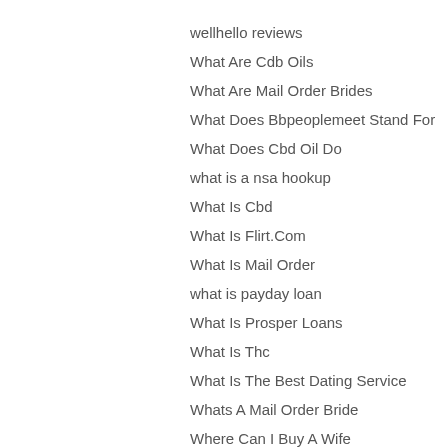wellhello reviews
What Are Cdb Oils
What Are Mail Order Brides
What Does Bbpeoplemeet Stand For
What Does Cbd Oil Do
what is a nsa hookup
What Is Cbd
What Is Flirt.Com
What Is Mail Order
what is payday loan
What Is Prosper Loans
What Is Thc
What Is The Best Dating Service
Whats A Mail Order Bride
Where Can I Buy A Wife